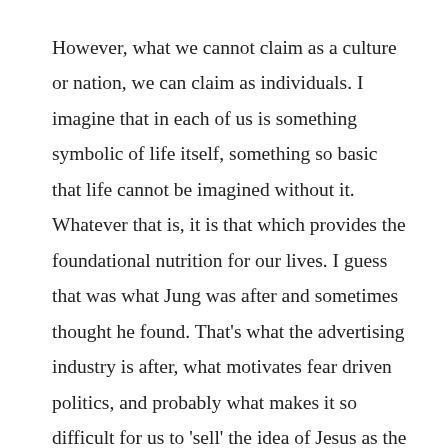However, what we cannot claim as a culture or nation, we can claim as individuals. I imagine that in each of us is something symbolic of life itself, something so basic that life cannot be imagined without it. Whatever that is, it is that which provides the foundational nutrition for our lives. I guess that was what Jung was after and sometimes thought he found. That's what the advertising industry is after, what motivates fear driven politics, and probably what makes it so difficult for us to 'sell' the idea of Jesus as the bread of life to the skeptics that have occupied my thinking about evangelism. It's why I'm inclined to believe that the best any national church evangelism program can do is to raise awareness and no more than that. I'm inclined to think that